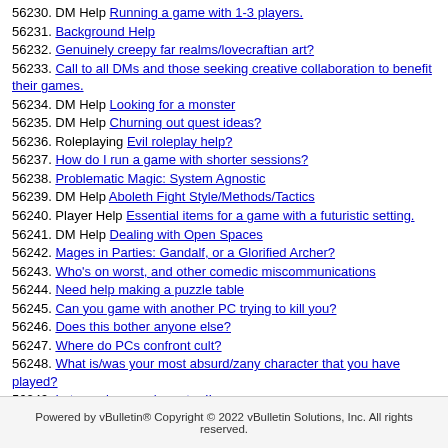56230. DM Help Running a game with 1-3 players.
56231. Background Help
56232. Genuinely creepy far realms/lovecraftian art?
56233. Call to all DMs and those seeking creative collaboration to benefit their games.
56234. DM Help Looking for a monster
56235. DM Help Churning out quest ideas?
56236. Roleplaying Evil roleplay help?
56237. How do I run a game with shorter sessions?
56238. Problematic Magic: System Agnostic
56239. DM Help Aboleth Fight Style/Methods/Tactics
56240. Player Help Essential items for a game with a futuristic setting.
56241. DM Help Dealing with Open Spaces
56242. Mages in Parties: Gandalf, or a Glorified Archer?
56243. Who's on worst, and other comedic miscommunications
56244. Need help making a puzzle table
56245. Can you game with another PC trying to kill you?
56246. Does this bother anyone else?
56247. Where do PCs confront cult?
56248. What is/was your most absurd/zany character that you have played?
56249. Let me play my character !!
56250. DM Help How do you handle mental blocks?
Powered by vBulletin® Copyright © 2022 vBulletin Solutions, Inc. All rights reserved.